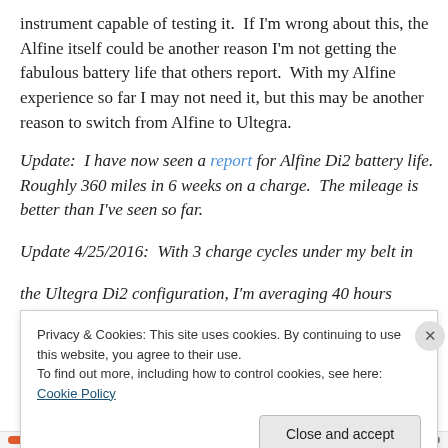instrument capable of testing it.  If I'm wrong about this, the Alfine itself could be another reason I'm not getting the fabulous battery life that others report.  With my Alfine experience so far I may not need it, but this may be another reason to switch from Alfine to Ultegra.
Update:  I have now seen a report for Alfine Di2 battery life.  Roughly 360 miles in 6 weeks on a charge.  The mileage is better than I've seen so far.
Update 4/25/2016:  With 3 charge cycles under my belt in the Ultegra Di2 configuration, I'm averaging 40 hours
Privacy & Cookies: This site uses cookies. By continuing to use this website, you agree to their use.
To find out more, including how to control cookies, see here: Cookie Policy
Close and accept